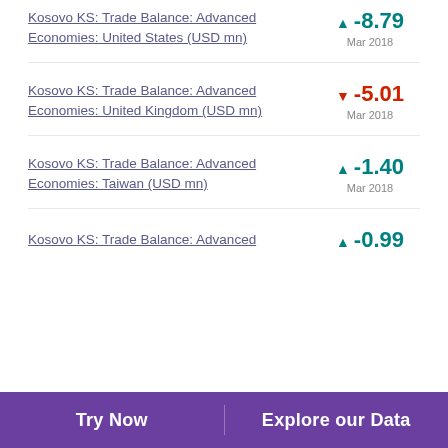Kosovo KS: Trade Balance: Advanced Economies: United States (USD mn)
Kosovo KS: Trade Balance: Advanced Economies: United Kingdom (USD mn)
Kosovo KS: Trade Balance: Advanced Economies: Taiwan (USD mn)
Kosovo KS: Trade Balance: Advanced
Try Now    Explore our Data